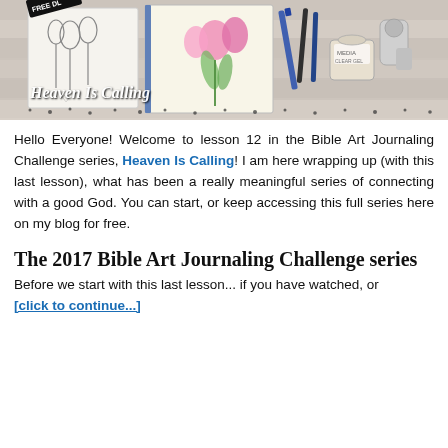[Figure (photo): Banner image for 'Heaven Is Calling' Bible Art Journaling Challenge. Shows a hand-drawn tulip sketch on left, colorful watercolor tulips in center journal, pens and art supplies on right. 'FREE DOWNLOAD' badge in top left corner. Cursive script text 'Heaven Is Calling' overlaid at bottom left with decorative dots.]
Hello Everyone! Welcome to lesson 12 in the Bible Art Journaling Challenge series, Heaven Is Calling! I am here wrapping up (with this last lesson), what has been a really meaningful series of connecting with a good God. You can start, or keep accessing this full series here on my blog for free.
The 2017 Bible Art Journaling Challenge series
Before we start with this last lesson... if you have watched, or [click to continue...]